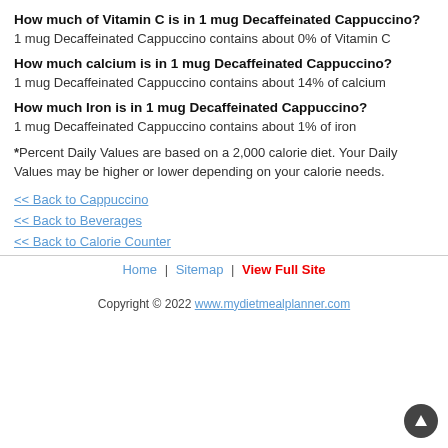How much of Vitamin C is in 1 mug Decaffeinated Cappuccino?
1 mug Decaffeinated Cappuccino contains about 0% of Vitamin C
How much calcium is in 1 mug Decaffeinated Cappuccino?
1 mug Decaffeinated Cappuccino contains about 14% of calcium
How much Iron is in 1 mug Decaffeinated Cappuccino?
1 mug Decaffeinated Cappuccino contains about 1% of iron
*Percent Daily Values are based on a 2,000 calorie diet. Your Daily Values may be higher or lower depending on your calorie needs.
<< Back to Cappuccino
<< Back to Beverages
<< Back to Calorie Counter
Home | Sitemap | View Full Site
Copyright © 2022 www.mydietmealplanner.com